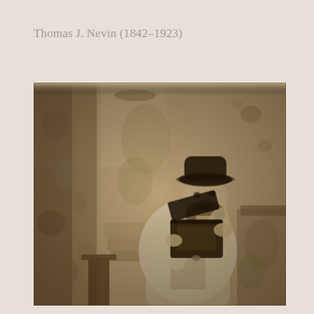Thomas J. Nevin (1842-1923)
[Figure (photo): Sepia-toned vintage photograph of Thomas J. Nevin, a bearded man wearing a bowler hat and light jacket, seated and holding open a small dark box or case. The background shows a floral curtain or drape on the left and a decorative backdrop. The photo has the aged, faded quality typical of 19th-century albumen prints.]